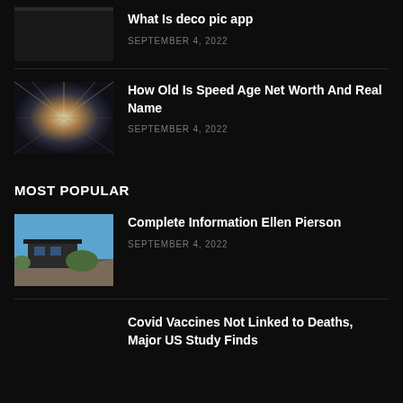What Is deco pic app
SEPTEMBER 4, 2022
[Figure (photo): Speed/motion blur tunnel photo]
How Old Is Speed Age Net Worth And Real Name
SEPTEMBER 4, 2022
MOST POPULAR
[Figure (photo): House on rocky hillside with blue sky]
Complete Information Ellen Pierson
SEPTEMBER 4, 2022
Covid Vaccines Not Linked to Deaths, Major US Study Finds